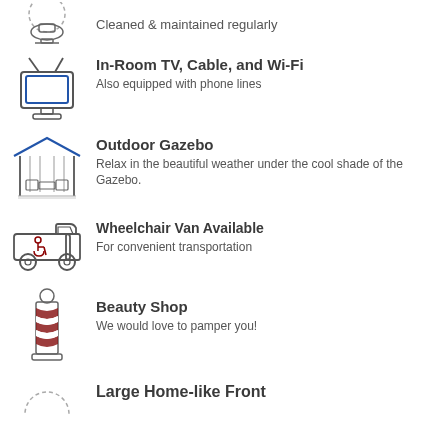Cleaned & maintained regularly
In-Room TV, Cable, and Wi-Fi
Also equipped with phone lines
Outdoor Gazebo
Relax in the beautiful weather under the cool shade of the Gazebo.
Wheelchair Van Available
For convenient transportation
Beauty Shop
We would love to pamper you!
Large Home-like Front